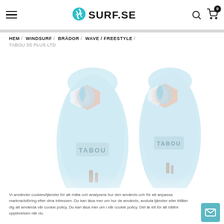SURF.SE — Navigation header with hamburger menu, logo, search and cart icons
HEM / WINDSURF / BRÄDOR / WAVE / FREESTYLE / TABOU 3S PLUS LTD
[Figure (photo): Two Tabou 3S Plus LTD windsurf boards shown side by side from a top-down angle, light blue color with decorative graphics and logos]
Vi använder cookies/tjänster för att mäta och analysera hur den används och för att anpassa marknadsföring efter dina intressen. Du kan läsa mer om hur de används, avsluta tjänster eller tillåter dig att använda vår cookie policy. Du kan läsa mer om i vår cookie policy. Det är ett för att bättre upplevelsen när du.